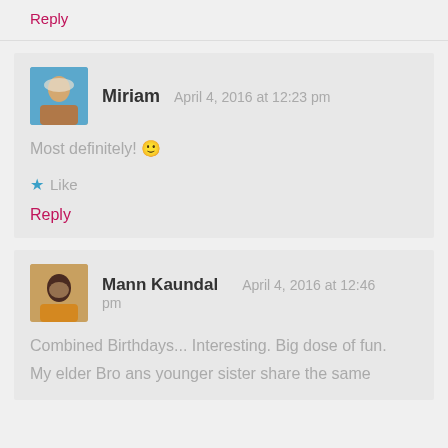Reply
Miriam   April 4, 2016 at 12:23 pm
Most definitely! 🙂
★ Like
Reply
Mann Kaundal   April 4, 2016 at 12:46 pm
Combined Birthdays... Interesting. Big dose of fun.
My elder Bro ans younger sister share the same